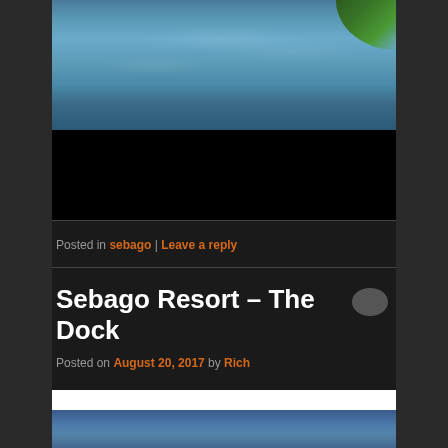[Figure (photo): Aerial or top-down view of a lake or water body with blue-green water and some green shoreline vegetation visible in upper right corner]
[Figure (photo): Black band/dark image section below the lake photo]
Posted in sebago | Leave a reply
Sebago Resort – The Dock
Posted on August 20, 2017 by Rich
[Figure (photo): Partial photo of Sebago lake with blue water and distant shoreline, white sky at top]